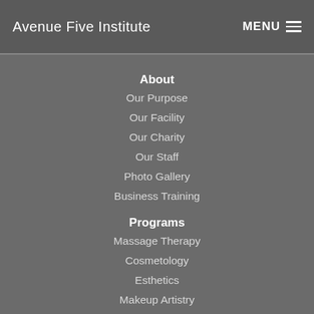Avenue Five Institute   MENU
About
Our Purpose
Our Facility
Our Charity
Our Staff
Photo Gallery
Business Training
Programs
Massage Therapy
Cosmetology
Esthetics
Makeup Artistry
Enrollment
Apply Online
Why Avenue Five?